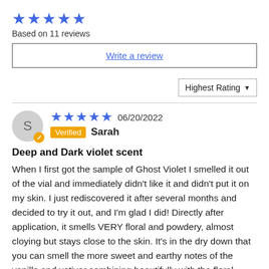[Figure (other): Five blue star rating icons]
Based on 11 reviews
Write a review
Highest Rating ▼
[Figure (other): Reviewer avatar circle with letter S and verified badge, five blue stars, date 06/20/2022, Verified tag, name Sarah]
Deep and Dark violet scent
When I first got the sample of Ghost Violet I smelled it out of the vial and immediately didn't like it and didn't put it on my skin. I just rediscovered it after several months and decided to try it out, and I'm glad I did! Directly after application, it smells VERY floral and powdery, almost cloying but stays close to the skin. It's in the dry down that you can smell the more sweet and earthy notes of the vanilla and vetiver combining beautifully with the floral violet notes. If you're looking for a bright violet scent this isn't the